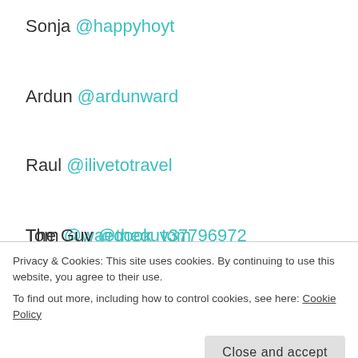Sonja @happyhoyt
Ardun @ardunward
Raul @ilivetotravel
Tom @waegook_tom
The Guy @theguy37796972
If you wish to be included in the list let me know 😉
Privacy & Cookies: This site uses cookies. By continuing to use this website, you agree to their use.
To find out more, including how to control cookies, see here: Cookie Policy
Close and accept